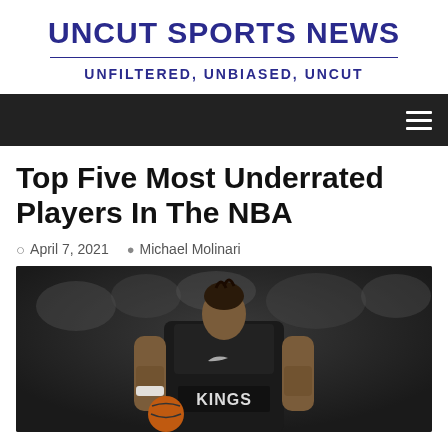UNCUT SPORTS NEWS
UNFILTERED, UNBIASED, UNCUT
Top Five Most Underrated Players In The NBA
April 7, 2021  Michael Molinari
[Figure (photo): NBA Sacramento Kings player in black KINGS jersey dribbling basketball, with blurred crowd in the background]